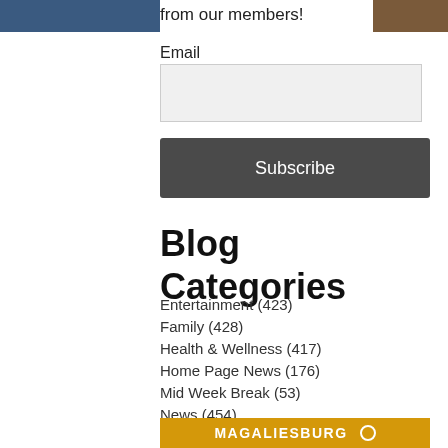from our members!
Email
Subscribe
Blog Categories
Entertainment (423)
Family (428)
Health & Wellness (417)
Home Page News (176)
Mid Week Break (53)
News (454)
Public Holiday (225)
Restaurants (369)
Romantic (353)
Uncategorized (25)
Wildlife (188)
MAGALIESBURG